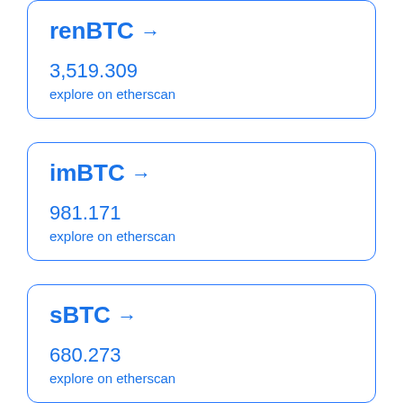renBTC →
3,519.309
explore on etherscan
imBTC →
981.171
explore on etherscan
sBTC →
680.273
explore on etherscan